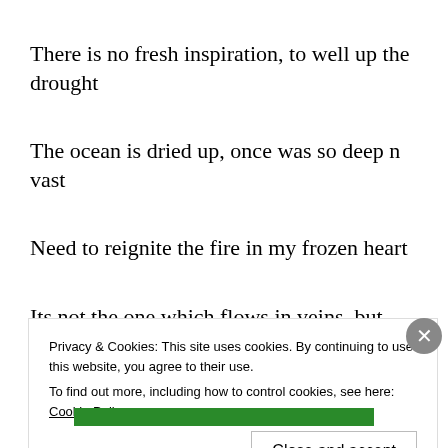There is no fresh inspiration, to well up the drought
The ocean is dried up, once was so deep n vast
Need to reignite the fire in my frozen heart
Its not the one which flows in veins, but burns you red hot
Privacy & Cookies: This site uses cookies. By continuing to use this website, you agree to their use. To find out more, including how to control cookies, see here: Cookie Policy
Close and accept